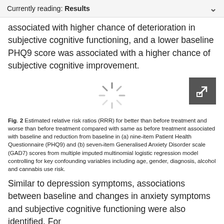Currently reading: Results
associated with higher chance of deterioration in subjective cognitive functioning, and a lower baseline PHQ9 score was associated with a higher chance of subjective cognitive improvement.
[Figure (other): Loading spinner icon indicating a figure is being loaded, with an expand/fullscreen button on the right.]
Fig. 2 Estimated relative risk ratios (RRR) for better than before treatment and worse than before treatment compared with same as before treatment associated with baseline and reduction from baseline in (a) nine-item Patient Health Questionnaire (PHQ9) and (b) seven-item Generalised Anxiety Disorder scale (GAD7) scores from multiple imputed multinomial logistic regression model controlling for key confounding variables including age, gender, diagnosis, alcohol and cannabis use risk.
Similar to depression symptoms, associations between baseline and changes in anxiety symptoms and subjective cognitive functioning were also identified. For